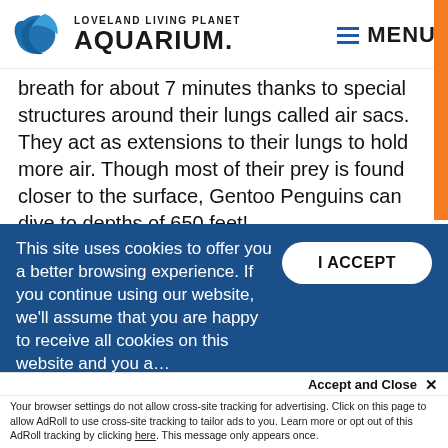LOVELAND LIVING PLANET AQUARIUM. MENU
breath for about 7 minutes thanks to special structures around their lungs called air sacs. They act as extensions to their lungs to hold more air. Though most of their prey is found closer to the surface, Gentoo Penguins can dive to depths of 650 feet!
More Ways to Explore*
This site uses cookies to offer you a better browsing experience. If you continue using our website, we'll assume that you are happy to receive all cookies on this website and you a…
I ACCEPT
Accept and Close ✕
Your browser settings do not allow cross-site tracking for advertising. Click on this page to allow AdRoll to use cross-site tracking to tailor ads to you. Learn more or opt out of this AdRoll tracking by clicking here. This message only appears once.